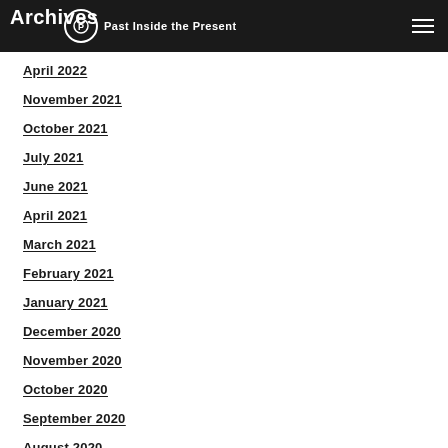Archives — Past Inside the Present
Archives
April 2022
November 2021
October 2021
July 2021
June 2021
April 2021
March 2021
February 2021
January 2021
December 2020
November 2020
October 2020
September 2020
August 2020
July 2020
June 2020
May 2020